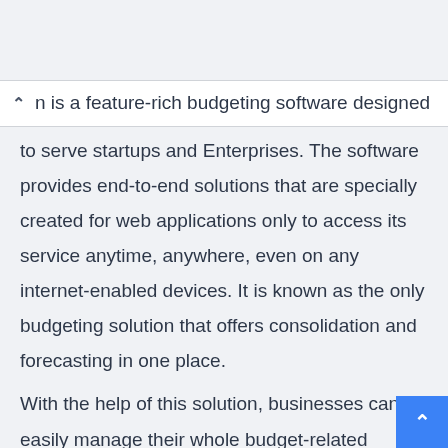n is a feature-rich budgeting software designed to serve startups and Enterprises. The software provides end-to-end solutions that are specially created for web applications only to access its service anytime, anywhere, even on any internet-enabled devices. It is known as the only budgeting solution that offers consolidation and forecasting in one place.
With the help of this solution, businesses can easily manage their whole budget-related activities, cash flow, and even accounting to save time and effort. As